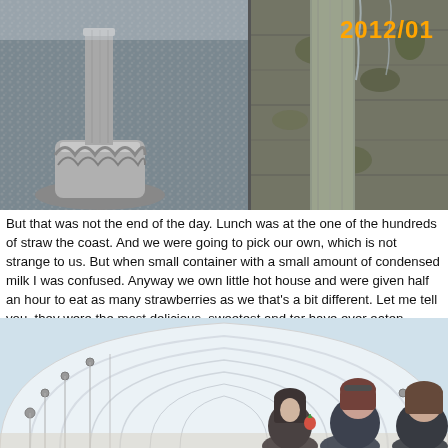[Figure (photo): Two outdoor photos side by side: left shows a stone pedestal/fountain base with gravel, right shows a stone pillar or wall with moss/lichen. Date stamp '2012/01' in orange top right.]
But that was not the end of the day. Lunch was at the one of the hundreds of straw the coast. And we were going to pick our own, which is not strange to us. But when small container with a small amount of condensed milk I was confused. Anyway we own little hot house and were given half an hour to eat as many strawberries as we that's a bit different. Let me tell you, they were the most delicious, sweetest and ter have ever eaten.
[Figure (photo): Interior of a greenhouse/polytunnel with arched white plastic roof and metal frame. Three women (one Asian, two Western) smiling in the foreground near strawberry plants.]